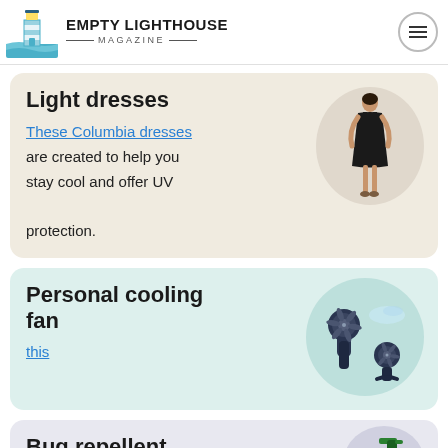EMPTY LIGHTHOUSE MAGAZINE
Light dresses
These Columbia dresses are created to help you stay cool and offer UV protection.
[Figure (photo): Woman wearing a black dress]
Personal cooling fan
this
[Figure (photo): Two handheld personal cooling fans with mist]
Bug repellent
[Figure (photo): Green spray bottle of bug repellent]